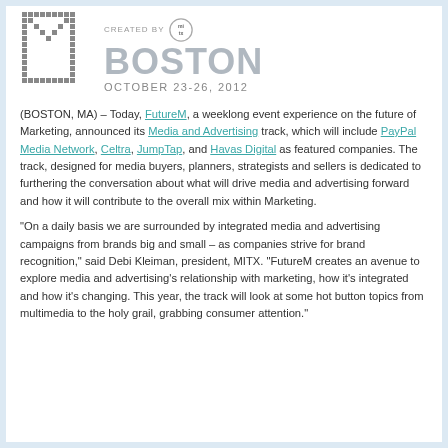[Figure (logo): FutureM Boston logo: large pixelated M on left, 'CREATED BY' with MITX badge, 'BOSTON' in large grey letters, 'OCTOBER 23-26, 2012' below]
(BOSTON, MA) – Today, FutureM, a weeklong event experience on the future of Marketing, announced its Media and Advertising track, which will include PayPal Media Network, Celtra, JumpTap, and Havas Digital as featured companies. The track, designed for media buyers, planners, strategists and sellers is dedicated to furthering the conversation about what will drive media and advertising forward and how it will contribute to the overall mix within Marketing.
“On a daily basis we are surrounded by integrated media and advertising campaigns from brands big and small – as companies strive for brand recognition,” said Debi Kleiman, president, MITX. “FutureM creates an avenue to explore media and advertising’s relationship with marketing, how it’s integrated and how it’s changing. This year, the track will look at some hot button topics from multimedia to the holy grail, grabbing consumer attention.”